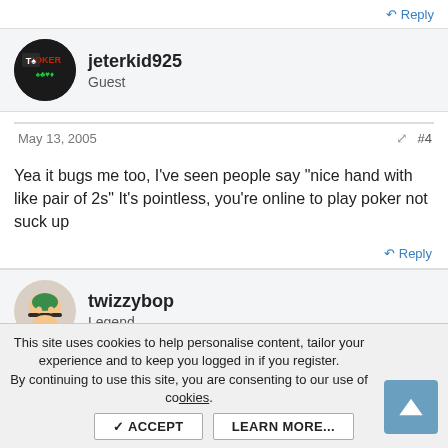Reply
[Figure (illustration): User avatar for jeterkid925 - dark circular avatar with poker-themed text/logo]
jeterkid925
Guest
May 13, 2005  #4
Yea it bugs me too, I've seen people say "nice hand with like pair of 2s" It's pointless, you're online to play poker not suck up
Reply
[Figure (illustration): User avatar for twizzybop - cartoon character avatar]
twizzybop
Legend
This site uses cookies to help personalise content, tailor your experience and to keep you logged in if you register.
By continuing to use this site, you are consenting to our use of cookies.
ACCEPT   LEARN MORE...